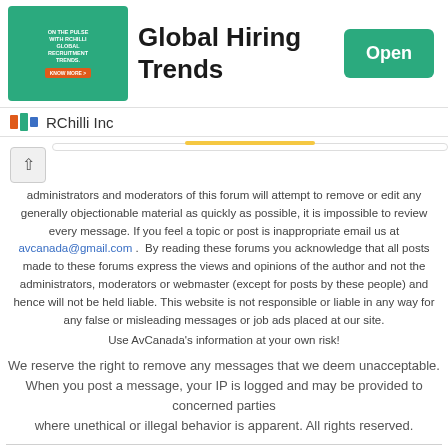[Figure (illustration): Ad banner with teal background showing RChilli Global Recruitment Trends text and imagery]
Global Hiring Trends
RChilli Inc
administrators and moderators of this forum will attempt to remove or edit any generally objectionable material as quickly as possible, it is impossible to review every message. If you feel a topic or post is inappropriate email us at avcanada@gmail.com .  By reading these forums you acknowledge that all posts made to these forums express the views and opinions of the author and not the administrators, moderators or webmaster (except for posts by these people) and hence will not be held liable. This website is not responsible or liable in any way for any false or misleading messages or job ads placed at our site.
Use AvCanada's information at your own risk!
We reserve the right to remove any messages that we deem unacceptable.
When you post a message, your IP is logged and may be provided to concerned parties where unethical or illegal behavior is apparent. All rights reserved.